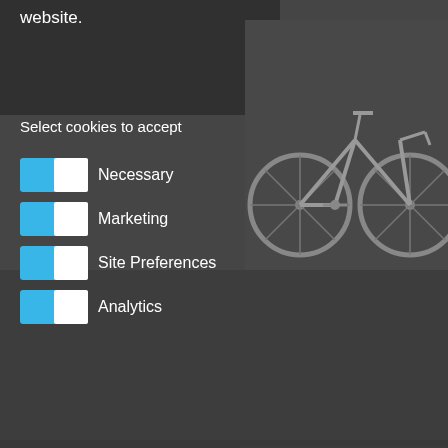website.
Select cookies to accept
Necessary
Marketing
Site Preferences
Analytics
Learn More
Deny Unnecessary
Accept Selected
Accept All
GoPlus Tempe 21 speed Aluminum Frame Road Bike 700C QR wheels
Item Out of Stock
Free Shipping
[Figure (photo): Road bicycle product image on dark background]